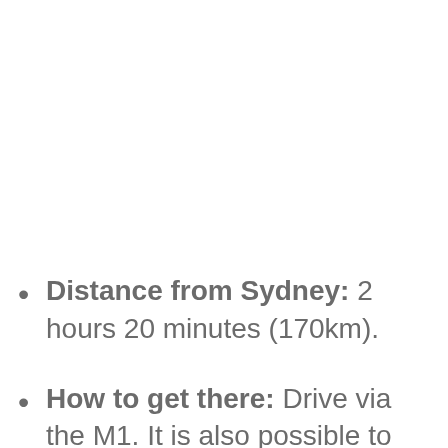Distance from Sydney: 2 hours 20 minutes (170km).
How to get there: Drive via the M1. It is also possible to go via public transport but this usually involves